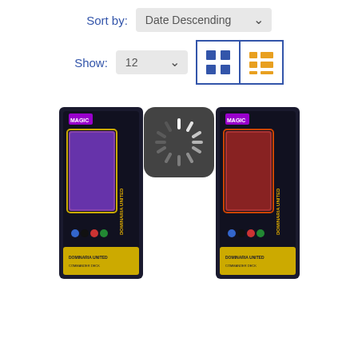Sort by: Date Descending
Show: 12
[Figure (screenshot): Two Magic: The Gathering Dominaria United Commander deck product boxes displayed side by side, with a loading spinner overlay in the center]
[Figure (infographic): Loading spinner icon (dark rounded square with white spinning indicator)]